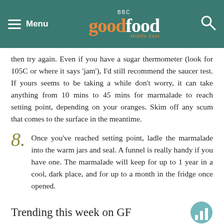BBC Good Food Middle East — Menu / Search header
then try again. Even if you have a sugar thermometer (look for 105C or where it says 'jam'), I'd still recommend the saucer test. If yours seems to be taking a while don't worry, it can take anything from 10 mins to 45 mins for marmalade to reach setting point, depending on your oranges. Skim off any scum that comes to the surface in the meantime.
8. Once you've reached setting point, ladle the marmalade into the warm jars and seal. A funnel is really handy if you have one. The marmalade will keep for up to 1 year in a cool, dark place, and for up to a month in the fridge once opened.
Trending this week on GF
Popular recipes:
1. Cooking with kids: Chocolate cornflake cakes